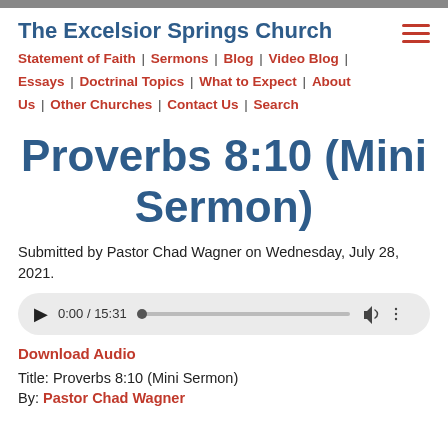The Excelsior Springs Church
Statement of Faith | Sermons | Blog | Video Blog | Essays | Doctrinal Topics | What to Expect | About Us | Other Churches | Contact Us | Search
Proverbs 8:10 (Mini Sermon)
Submitted by Pastor Chad Wagner on Wednesday, July 28, 2021.
[Figure (other): Audio player showing 0:00 / 15:31 with play button, progress bar, volume and options icons]
Download Audio
Title: Proverbs 8:10 (Mini Sermon)
By: Pastor Chad Wagner